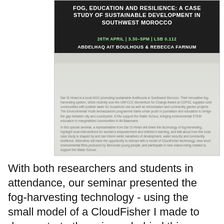[Figure (screenshot): Poster/flyer for a seminar titled 'Fog, Education and Resilience: A Case Study of Sustainable Development in Southwest Morocco', dated 26th April, 3.30–5pm, LSB 0.112, featuring speakers Abdelhaq Ait Boulhous & Rebecca Farnum. The poster has a dark background with white and green text, and includes a descriptive paragraph about Dar Si Hmad NGO and the seminar content.]
With both researchers and students in attendance, our seminar presented the fog-harvesting technology - using the small model of a CloudFisher I made to demonstrate the science behind this simple but innovative project. We also talked about Dar Si Hmad's other programs, including women's empowerment, the Water School, and reforestation. Our main objective was to share a story about